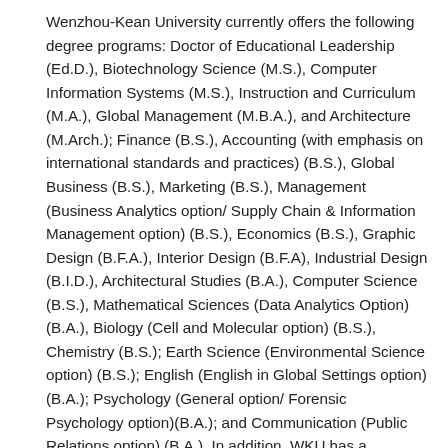Wenzhou-Kean University currently offers the following degree programs: Doctor of Educational Leadership (Ed.D.), Biotechnology Science (M.S.), Computer Information Systems (M.S.), Instruction and Curriculum (M.A.), Global Management (M.B.A.), and Architecture (M.Arch.); Finance (B.S.), Accounting (with emphasis on international standards and practices) (B.S.), Global Business (B.S.), Marketing (B.S.), Management (Business Analytics option/ Supply Chain & Information Management option) (B.S.), Economics (B.S.), Graphic Design (B.F.A.), Interior Design (B.F.A), Industrial Design (B.I.D.), Architectural Studies (B.A.), Computer Science (B.S.), Mathematical Sciences (Data Analytics Option) (B.A.), Biology (Cell and Molecular option) (B.S.), Chemistry (B.S.); Earth Science (Environmental Science option) (B.S.); English (English in Global Settings option) (B.A.); Psychology (General option/ Forensic Psychology option)(B.A.); and Communication (Public Relations option) (B.A.). In addition, WKU has a substantial commitment to the teaching of ESL/EFL.